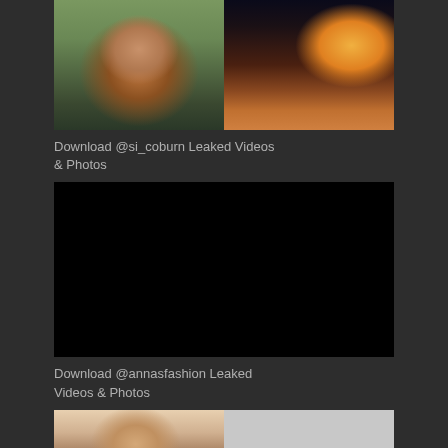[Figure (photo): Two photos side by side: left shows a man with red beard and sunglasses smiling outdoors with backpack; right shows a skateboarder at sunset on a ramp with city skyline]
Download @si_coburn Leaked Videos & Photos
[Figure (photo): Solid black rectangle, video thumbnail placeholder]
Download @annasfashion Leaked Videos & Photos
[Figure (photo): Two photos side by side: left shows a man with red/blonde hair laughing indoors; right is a plain light gray background]